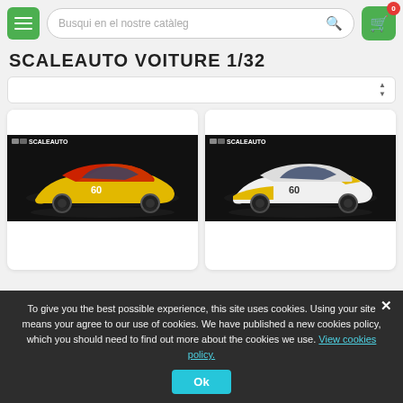[Figure (screenshot): Website header with hamburger menu button (green), search bar with placeholder 'Busqui en el nostre catàleg', and shopping cart icon (green) with badge showing 0]
SCALEAUTO VOITURE 1/32
[Figure (screenshot): Sort/filter dropdown bar with sort arrows]
[Figure (photo): Scaleauto brand yellow and black racing car (Corvette style) with number 60, on dark background with Scaleauto logo top left]
[Figure (photo): Scaleauto brand white and yellow racing car (Corvette style) with number 60, on dark background with Scaleauto logo top left]
To give you the best possible experience, this site uses cookies. Using your site means your agree to our use of cookies. We have published a new cookies policy, which you should need to find out more about the cookies we use. View cookies policy.
Ok